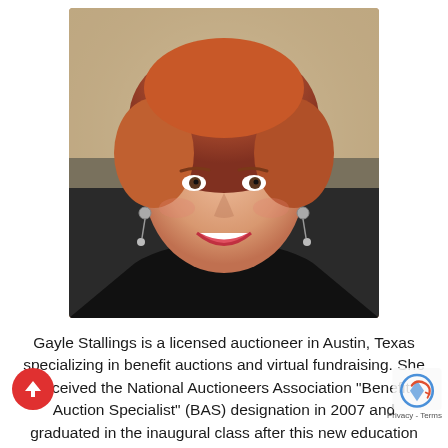[Figure (photo): Professional headshot of Gayle Stallings, a woman with short reddish-brown hair, smiling, wearing a black jacket and dangling earrings, photographed against a blurred background.]
Gayle Stallings is a licensed auctioneer in Austin, Texas specializing in benefit auctions and virtual fundraising. She received the National Auctioneers Association "Benefit Auction Specialist" (BAS) designation in 2007 and graduated in the inaugural class after this new education designation was offered for benefit auctioneers.